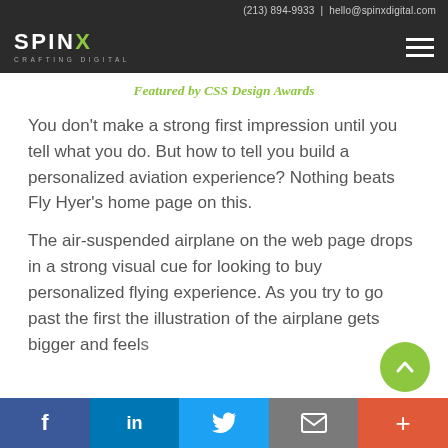(213) 894-9933 | hello@spinxdigital.com
[Figure (logo): SPINX Digital logo with tagline CRAFTING DIGITAL and hamburger menu icon on dark background]
Featured by CSS Design Awards
You don’t make a strong first impression until you tell what you do. But how to tell you build a personalized aviation experience? Nothing beats Fly Hyer’s home page on this.
The air-suspended airplane on the web page drops in a strong visual cue for looking to buy personalized flying experience. As you try to go past the first the illustration of the airplane gets bigger and feels
Facebook | LinkedIn | Twitter | Email | More